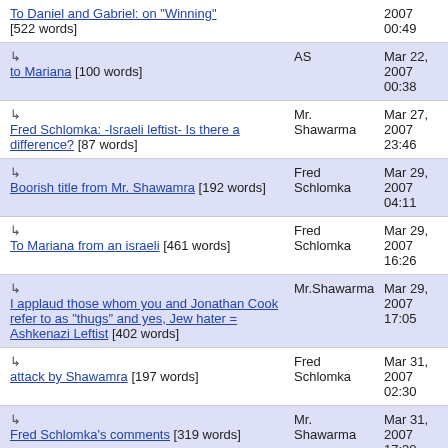To Daniel and Gabriel: on "Winning" [522 words] — 2007 00:49
↳ to Mariana [100 words] — AS — Mar 22, 2007 00:38
↳ Fred Schlomka: -Israeli leftist- Is there a difference? [87 words] — Mr. Shawarma — Mar 27, 2007 23:46
↳ Boorish title from Mr. Shawamra [192 words] — Fred Schlomka — Mar 29, 2007 04:11
↳ To Mariana from an israeli [461 words] — Fred Schlomka — Mar 29, 2007 16:26
↳ I applaud those whom you and Jonathan Cook refer to as "thugs" and yes, Jew hater = Ashkenazi Leftist [402 words] — Mr.Shawarma — Mar 29, 2007 17:05
↳ attack by Shawamra [197 words] — Fred Schlomka — Mar 31, 2007 02:30
↳ Fred Schlomka's comments [319 words] — Mr. Shawarma — Mar 31, 2007 17:30